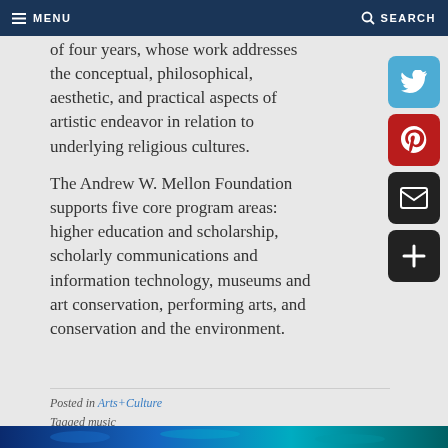MENU  SEARCH
of four years, whose work addresses the conceptual, philosophical, aesthetic, and practical aspects of artistic endeavor in relation to underlying religious cultures.
The Andrew W. Mellon Foundation supports five core program areas: higher education and scholarship, scholarly communications and information technology, museums and art conservation, performing arts, and conservation and the environment.
Posted in Arts+Culture
Tagged music
[Figure (photo): Blue-toned artistic image at bottom of page]